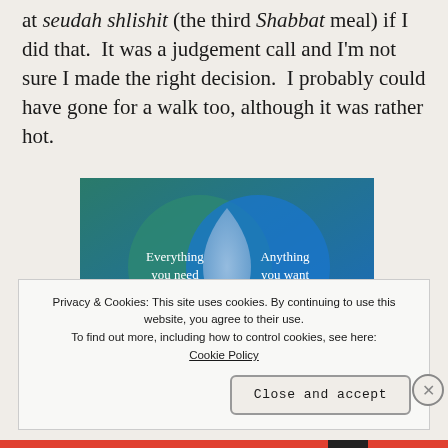at seudah shlishit (the third Shabbat meal) if I did that. It was a judgement call and I'm not sure I made the right decision. I probably could have gone for a walk too, although it was rather hot.
[Figure (infographic): Venn diagram with two overlapping circles on a blue-green gradient background. Left circle (teal/green) labeled 'Everything you need', right circle (blue) labeled 'Anything you want', with a light blue overlapping lens-shaped intersection in the center.]
Privacy & Cookies: This site uses cookies. By continuing to use this website, you agree to their use. To find out more, including how to control cookies, see here: Cookie Policy